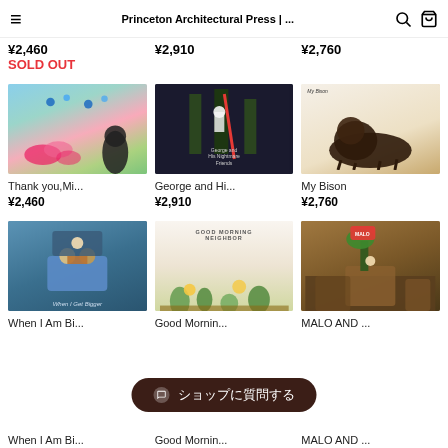Princeton Architectural Press | ...
¥2,460  ¥2,910  ¥2,760
SOLD OUT
[Figure (photo): Book cover: Thank you,Mi...]
Thank you,Mi...
¥2,460
[Figure (photo): Book cover: George and Hi...]
George and Hi...
¥2,910
[Figure (photo): Book cover: My Bison]
My Bison
¥2,760
[Figure (photo): Book cover: When I Am Bi...]
When I Am Bi...
[Figure (photo): Book cover: Good Mornin...]
Good Mornin...
[Figure (photo): Book cover: MALO AND ...]
MALO AND ...
ショップに質問する